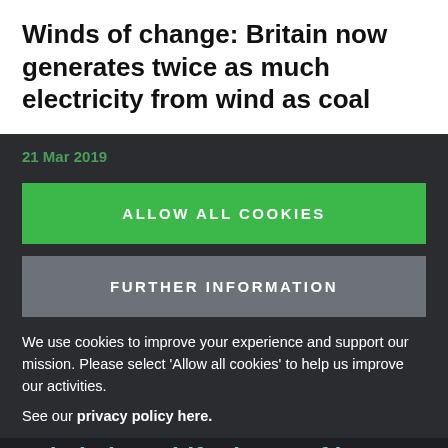Winds of change: Britain now generates twice as much electricity from wind as coal
21 Mar 2019
ALLOW ALL COOKIES
FURTHER INFORMATION
We use cookies to improve your experience and support our mission. Please select 'Allow all cookies' to help us improve our activities.
See our privacy policy here.
Britain has shifted 30% of its electricity away from fossil fuels in just nine years